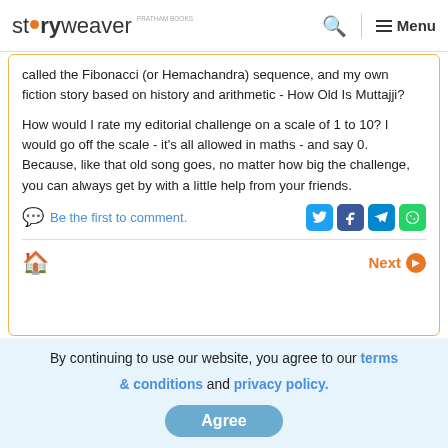storyweaver Menu
called the Fibonacci (or Hemachandra) sequence, and my own fiction story based on history and arithmetic - How Old Is Muttajji?
How would I rate my editorial challenge on a scale of 1 to 10? I would go off the scale - it's all allowed in maths - and say 0. Because, like that old song goes, no matter how big the challenge, you can always get by with a little help from your friends.
Be the first to comment.
Next
By continuing to use our website, you agree to our terms & conditions and privacy policy.